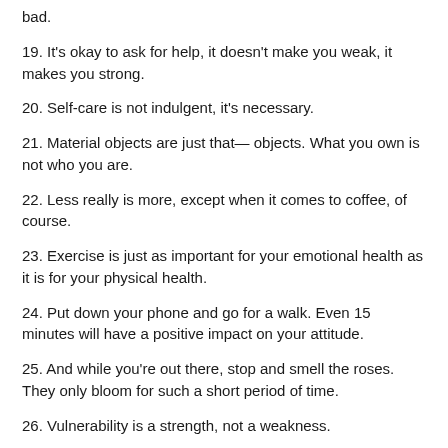bad.
19. It's okay to ask for help, it doesn't make you weak, it makes you strong.
20. Self-care is not indulgent, it's necessary.
21. Material objects are just that— objects. What you own is not who you are.
22. Less really is more, except when it comes to coffee, of course.
23. Exercise is just as important for your emotional health as it is for your physical health.
24. Put down your phone and go for a walk. Even 15 minutes will have a positive impact on your attitude.
25. And while you're out there, stop and smell the roses. They only bloom for such a short period of time.
26. Vulnerability is a strength, not a weakness.